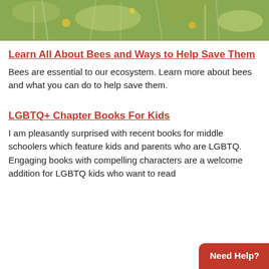[Figure (photo): Close-up photo of bees/plants with green and yellow tones at the top of the page]
Learn All About Bees and Ways to Help Save Them
Bees are essential to our ecosystem. Learn more about bees and what you can do to help save them.
LGBTQ+ Chapter Books For Kids
I am pleasantly surprised with recent books for middle schoolers which feature kids and parents who are LGBTQ. Engaging books with compelling characters are a welcome addition for LGBTQ kids who want to read
Need Help?